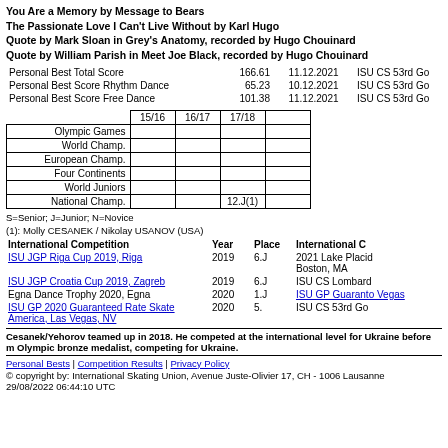You Are a Memory by Message to Bears
The Passionate Love I Can't Live Without by Karl Hugo
Quote by Mark Sloan in Grey's Anatomy, recorded by Hugo Chouinard
Quote by William Parish in Meet Joe Black, recorded by Hugo Chouinard
|  |  |  |  |
| --- | --- | --- | --- |
| Personal Best Total Score | 166.61 | 11.12.2021 | ISU CS 53rd Go |
| Personal Best Score Rhythm Dance | 65.23 | 10.12.2021 | ISU CS 53rd Go |
| Personal Best Score Free Dance | 101.38 | 11.12.2021 | ISU CS 53rd Go |
|  | 15/16 | 16/17 | 17/18 |  |
| --- | --- | --- | --- | --- |
| Olympic Games |  |  |  |  |
| World Champ. |  |  |  |  |
| European Champ. |  |  |  |  |
| Four Continents |  |  |  |  |
| World Juniors |  |  |  |  |
| National Champ. |  |  | 12.J(1) |  |
S=Senior; J=Junior; N=Novice
(1): Molly CESANEK / Nikolay USANOV (USA)
| International Competition | Year | Place | International C |
| --- | --- | --- | --- |
| ISU JGP Riga Cup 2019, Riga | 2019 | 6.J | 2021 Lake Placid Boston, MA |
| ISU JGP Croatia Cup 2019, Zagreb | 2019 | 6.J | ISU CS Lombard |
| Egna Dance Trophy 2020, Egna | 2020 | 1.J | ISU GP Guaranto Vegas |
| ISU GP 2020 Guaranteed Rate Skate America, Las Vegas, NV | 2020 | 5. | ISU CS 53rd Go |
Cesanek/Yehorov teamed up in 2018. He competed at the international level for Ukraine before m Olympic bronze medalist, competing for Ukraine.
Personal Bests | Competition Results | Privacy Policy
© copyright by: International Skating Union, Avenue Juste-Olivier 17, CH - 1006 Lausanne
29/08/2022 06:44:10 UTC